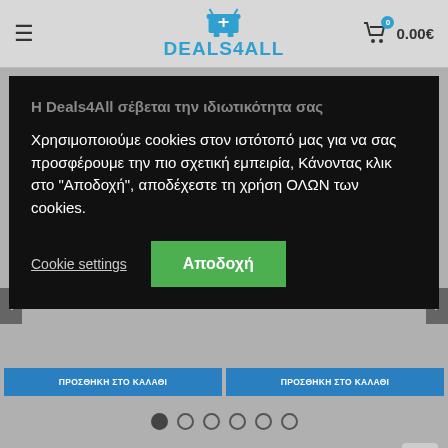DEALS4ALL — 0.00€
[Figure (screenshot): Website header with hamburger menu on left, Deals4All logo with shopping cart icon in center, and cart icon with badge showing 0 and price 0.00€ on right]
Η Deals4All σέβεται την ιδιωτικότητα σας
Χρησιμοποιούμε cookies στον ιστότοπό μας για να σας προσφέρουμε την πιο σχετική εμπειρία, Κάνοντας κλικ στο "Αποδοχή", αποδέχεστε τη χρήση ΟΛΩΝ των cookies.
Cookie settings
Αποδοχή
ΠΡΟΣΘΗΚΗ ΣΤΟ ΚΑΛΑΘΙ
ΠΡΟΣΘΗΚΗ ΣΤΟ ΚΑΛΑΘΙ
HOT ΠΡΟΪΟΝΤΑ